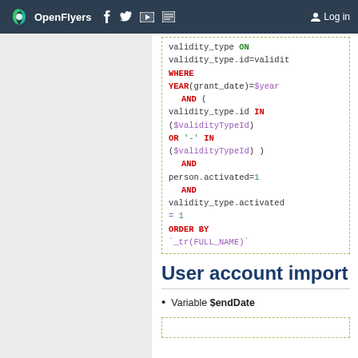OpenFlyers | Log in
[Figure (screenshot): Code block showing SQL query fragment with validity_type ON, validity_type.id=validit, WHERE, YEAR(grant_date)=$year AND ( validity_type.id IN ($validityTypeId) OR '-' IN ($validityTypeId) ) AND person.activated=1 AND validity_type.activated = 1 ORDER BY `_tr(FULL_NAME)`]
User account import
Variable $endDate
[Figure (screenshot): Partial code block at bottom of page]